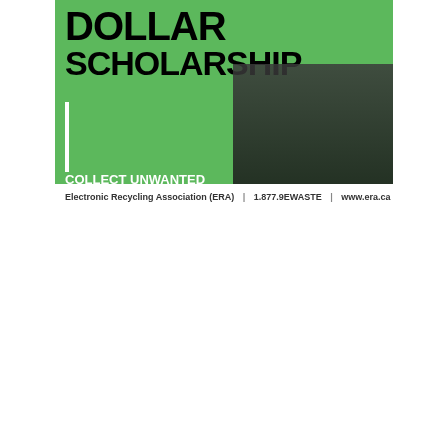[Figure (infographic): ERA Dollar Scholarship advertisement on green background. Text reads 'DOLLAR SCHOLARSHIP - COLLECT UNWANTED LAPTOPS, TABLETS & SMART PHONES FOR YOUR CHANCE TO WIN!' with a figure of a graduate and stacked electronic devices. Footer: 'Electronic Recycling Association (ERA) | 1.877.9EWASTE | www.era.ca']
[Figure (screenshot): YouTube video player embed showing EYEOPENER channel with video title 'Asking students what they think o...' on a dark/black background.]